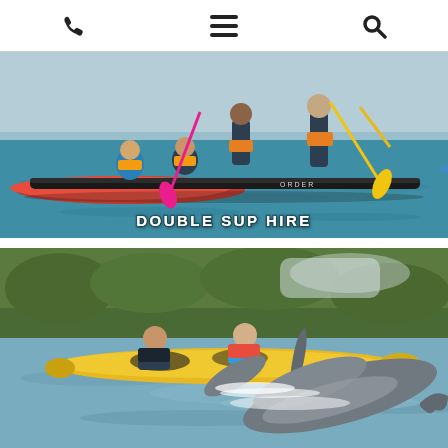phone menu search
[Figure (photo): Group of people on a large red and black inflatable double SUP paddleboard on the water, wearing life jackets and wetsuits, paddling with various paddles including a pink one and yellow ones.]
DOUBLE SUP HIRE
[Figure (photo): Two people in a yellow tandem kayak paddling on the water, with a dolphin surfacing right in front of them, green vegetation visible in the background.]